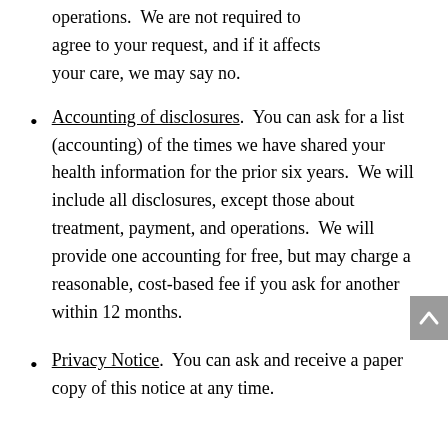operations.  We are not required to agree to your request, and if it affects your care, we may say no.
Accounting of disclosures.  You can ask for a list (accounting) of the times we have shared your health information for the prior six years.  We will include all disclosures, except those about treatment, payment, and operations.  We will provide one accounting for free, but may charge a reasonable, cost-based fee if you ask for another within 12 months.
Privacy Notice.  You can ask and receive a paper copy of this notice at any time.